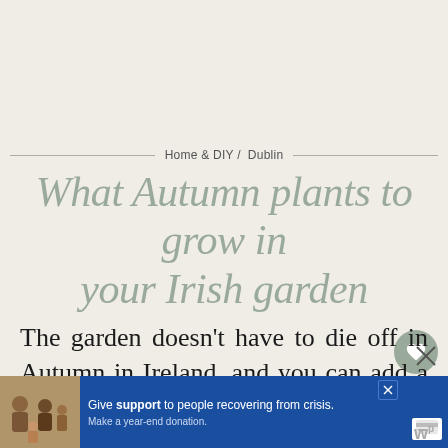Home & DIY / Dublin
What Autumn plants to grow in your Irish garden
The garden doesn't have to die off in Autumn in Ireland, and you can add a splash of colour to your border with Autumn perennial and annual plants. Let me show you plants that will be easy in yo...
[Figure (other): Advertisement banner: Give support to people recovering from crisis. Make a year-end donation.]
[Figure (other): What's Next widget showing 'How to water your plants i...' with thumbnail image]